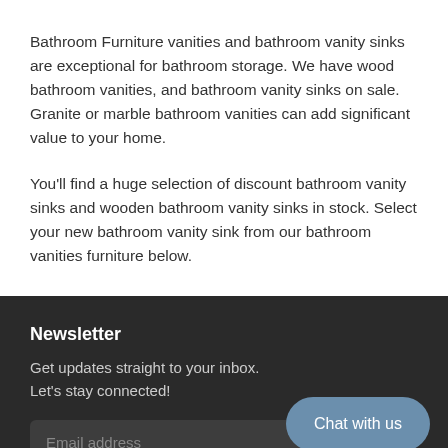Bathroom Furniture vanities and bathroom vanity sinks are exceptional for bathroom storage. We have wood bathroom vanities, and bathroom vanity sinks on sale. Granite or marble bathroom vanities can add significant value to your home.
You'll find a huge selection of discount bathroom vanity sinks and wooden bathroom vanity sinks in stock. Select your new bathroom vanity sink from our bathroom vanities furniture below.
Newsletter
Get updates straight to your inbox. Let's stay connected!